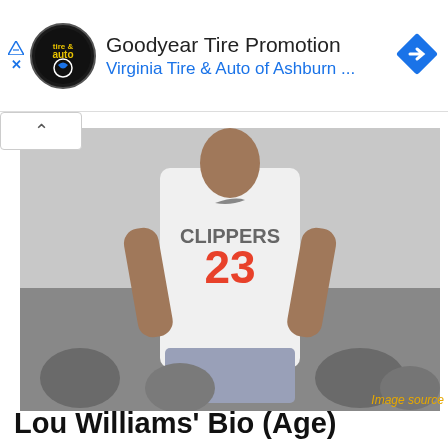[Figure (other): Goodyear Tire Promotion advertisement banner for Virginia Tire & Auto of Ashburn with logo and navigation arrow icon]
[Figure (photo): NBA player Lou Williams in a LA Clippers white jersey number 23, standing on the court with crowd in background]
Image source
Lou Williams' Bio (Age)
Lou was born on October 27, 1986, in Memphis, Tennessee, as Louis Tyrone Williams. He is one of his